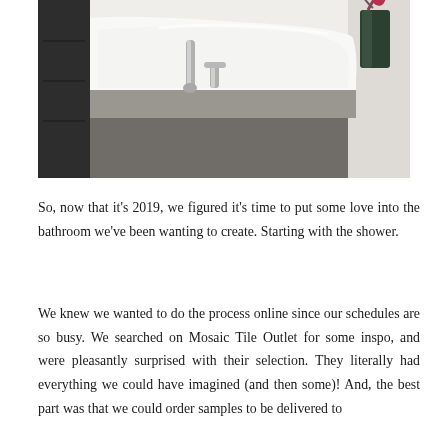[Figure (photo): Photograph of a white corner bathtub with brushed nickel faucet fixtures, dark cabinetry on the left, and a dark vase with flowers on the right. The tub sits on a gray/taupe surround surface.]
So, now that it's 2019, we figured it's time to put some love into the bathroom we've been wanting to create. Starting with the shower.
We knew we wanted to do the process online since our schedules are so busy. We searched on Mosaic Tile Outlet for some inspo, and were pleasantly surprised with their selection. They literally had everything we could have imagined (and then some)! And, the best part was that we could order samples to be delivered to